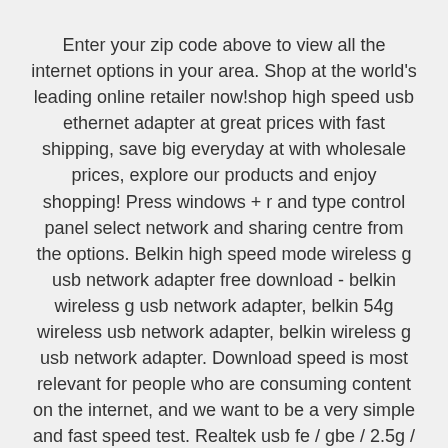Enter your zip code above to view all the internet options in your area. Shop at the world's leading online retailer now!shop high speed usb ethernet adapter at great prices with fast shipping, save big everyday at with wholesale prices, explore our products and enjoy shopping! Press windows + r and type control panel select network and sharing centre from the options. Belkin high speed mode wireless g usb network adapter free download - belkin wireless g usb network adapter, belkin 54g wireless usb network adapter, belkin wireless g usb network adapter. Download speed is most relevant for people who are consuming content on the internet, and we want to be a very simple and fast speed test. Realtek usb fe / gbe / 2.5g / gaming ethernet family controller